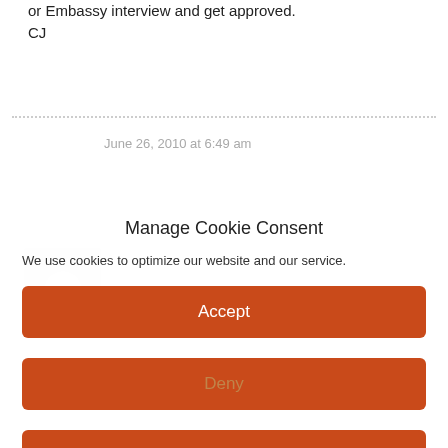or Embassy interview and get approved.
CJ
June 26, 2010 at 6:49 am
Manage Cookie Consent
We use cookies to optimize our website and our service.
Accept
Deny
Preferences